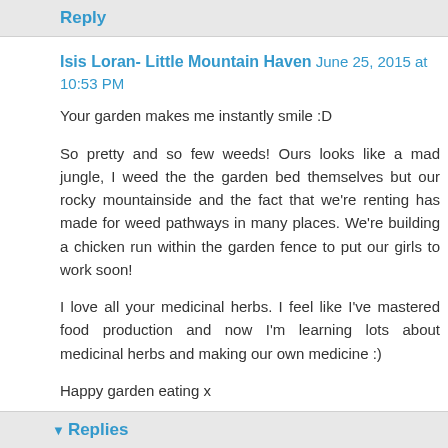Reply
Isis Loran- Little Mountain Haven June 25, 2015 at 10:53 PM
Your garden makes me instantly smile :D
So pretty and so few weeds! Ours looks like a mad jungle, I weed the the garden bed themselves but our rocky mountainside and the fact that we're renting has made for weed pathways in many places. We're building a chicken run within the garden fence to put our girls to work soon!
I love all your medicinal herbs. I feel like I've mastered food production and now I'm learning lots about medicinal herbs and making our own medicine :)
Happy garden eating x
Reply
Replies